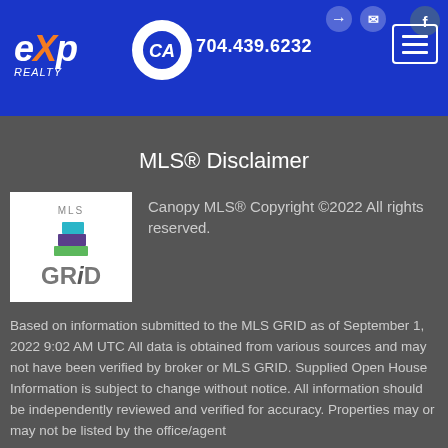[Figure (logo): eXp Realty logo and CA realtor logo with phone number 704.439.6232, navigation menu icon, and social/contact icons in blue header]
MLS® Disclaimer
[Figure (logo): MLS GRID logo with stacked colored squares and the text MLS GRID]
Canopy MLS® Copyright ©2022 All rights reserved.
Based on information submitted to the MLS GRID as of September 1, 2022 9:02 AM UTC All data is obtained from various sources and may not have been verified by broker or MLS GRID. Supplied Open House Information is subject to change without notice. All information should be independently reviewed and verified for accuracy. Properties may or may not be listed by the office/agent